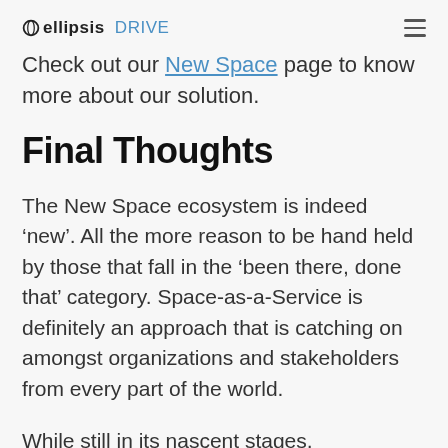Ellipsis Drive
Check out our New Space page to know more about our solution.
Final Thoughts
The New Space ecosystem is indeed ‘new’. All the more reason to be hand held by those that fall in the ‘been there, done that’ category. Space-as-a-Service is definitely an approach that is catching on amongst organizations and stakeholders from every part of the world.
While still in its nascent stages, organizations all